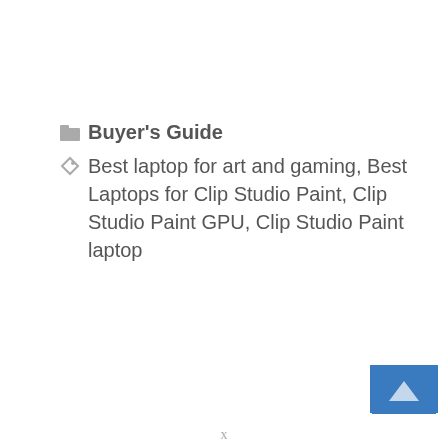📁 Buyer's Guide
🏷 Best laptop for art and gaming, Best Laptops for Clip Studio Paint, Clip Studio Paint GPU, Clip Studio Paint laptop
< How to Unlock Dell Laptop Windows 10?-(Follow 4 Easy Steps)
> 5 Best Laptops with Anti-Glare Screens-(Anti-Glare...